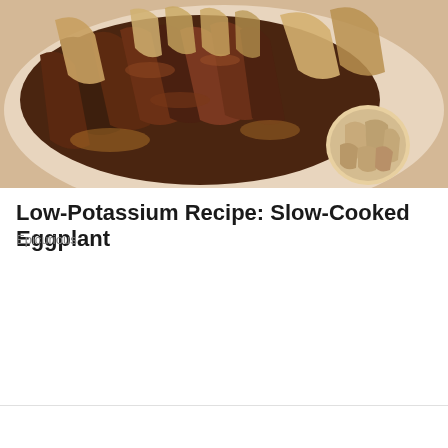[Figure (photo): A ceramic plate or pan containing slow-cooked eggplant pieces with roasted garlic, glazed in a dark sauce, viewed from above.]
Low-Potassium Recipe: Slow-Cooked Eggplant
Epicurious